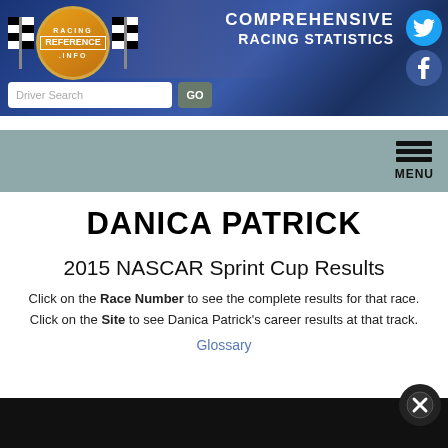[Figure (screenshot): Racing-Reference.info website banner with logo, search bar, Twitter and Facebook icons, and 'Comprehensive Racing Statistics' tagline]
DANICA PATRICK
2015 NASCAR Sprint Cup Results
Click on the Race Number to see the complete results for that race. Click on the Site to see Danica Patrick's career results at that track.
Glossary